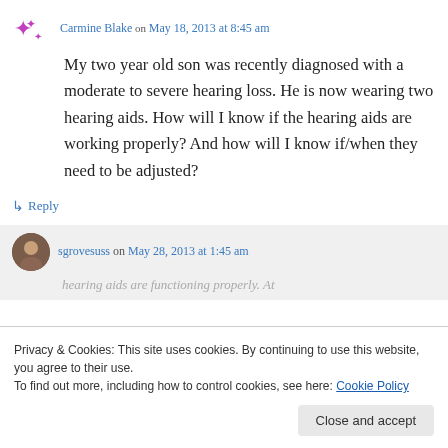Carmine Blake on May 18, 2013 at 8:45 am
My two year old son was recently diagnosed with a moderate to severe hearing loss. He is now wearing two hearing aids. How will I know if the hearing aids are working properly? And how will I know if/when they need to be adjusted?
↳ Reply
sgrovesuss on May 28, 2013 at 1:45 am
hearing aids are functioning properly. At
Privacy & Cookies: This site uses cookies. By continuing to use this website, you agree to their use.
To find out more, including how to control cookies, see here: Cookie Policy
Close and accept